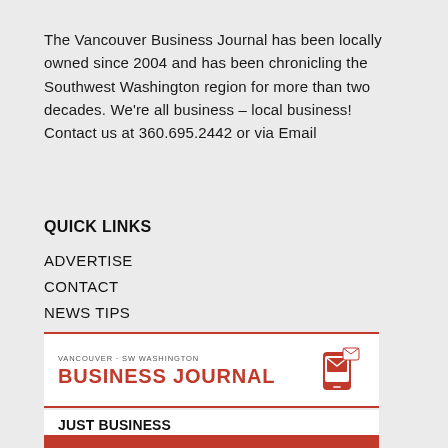The Vancouver Business Journal has been locally owned since 2004 and has been chronicling the Southwest Washington region for more than two decades. We're all business – local business! Contact us at 360.695.2442 or via Email
QUICK LINKS
ADVERTISE
CONTACT
NEWS TIPS
SUBSCRIBE
SUBMIT MOVERS & SHAKERS
SUBMIT A PRESS RELEASE
[Figure (logo): Vancouver SW Washington Business Journal logo with mobile phone and email icon]
JUST BUSINESS